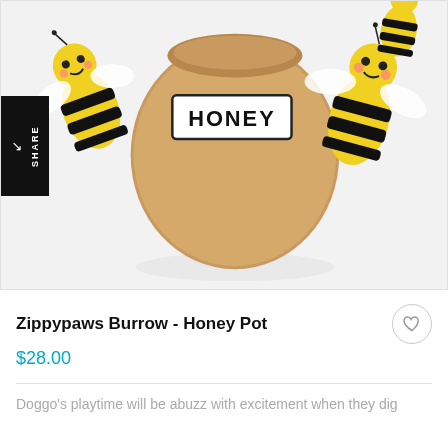[Figure (photo): Product photo of ZippyPaws Burrow Honey Pot dog toy — a plush honey pot with cute smiling bee stuffed animals emerging from it, on a white background. A black SHARE button is on the left side.]
Zippypaws Burrow - Honey Pot
$28.00
Doggo's playtime will be abuzz with excitement when they dig